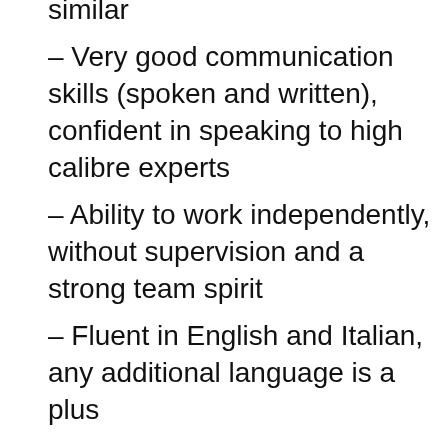similar
– Very good communication skills (spoken and written), confident in speaking to high calibre experts
– Ability to work independently, without supervision and a strong team spirit
– Fluent in English and Italian, any additional language is a plus
**Interested?**
Apply now via www.atheneum-